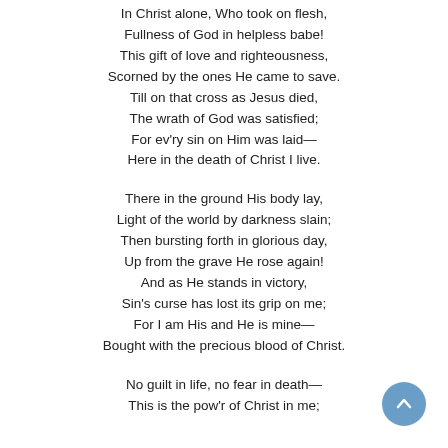In Christ alone, Who took on flesh,
Fullness of God in helpless babe!
This gift of love and righteousness,
Scorned by the ones He came to save.
Till on that cross as Jesus died,
The wrath of God was satisfied;
For ev'ry sin on Him was laid—
Here in the death of Christ I live.
There in the ground His body lay,
Light of the world by darkness slain;
Then bursting forth in glorious day,
Up from the grave He rose again!
And as He stands in victory,
Sin's curse has lost its grip on me;
For I am His and He is mine—
Bought with the precious blood of Christ.
No guilt in life, no fear in death—
This is the pow'r of Christ in me;